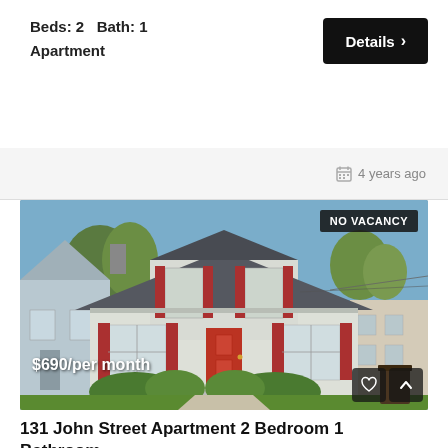Beds: 2   Bath: 1
Apartment
Details >
4 years ago
[Figure (photo): Two-story residential house with red shutters and red front door, grey siding, on a city street with green bushes and lawn, blue sky. NO VACANCY badge top right. Price $690/per month bottom left.]
131 John Street Apartment 2 Bedroom 1 Bathroom